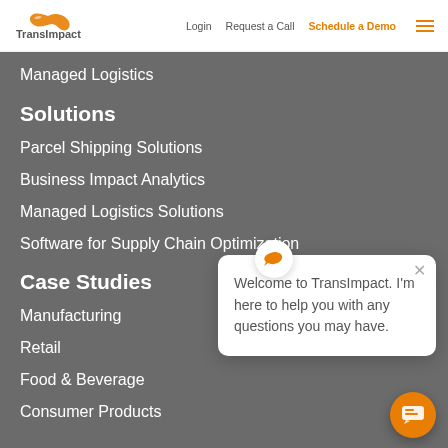TransImpact | Login | Request a Call | Schedule a Demo
Managed Logistics
Solutions
Parcel Shipping Solutions
Business Impact Analytics
Managed Logistics Solutions
Software for Supply Chain Optimization
Case Studies
Manufacturing
Retail
Food & Beverage
Consumer Products
[Figure (screenshot): Chat popup widget with message: Welcome to TransImpact. I'm here to help you with any questions you may have.]
Welcome to TransImpact. I'm here to help you with any questions you may have.